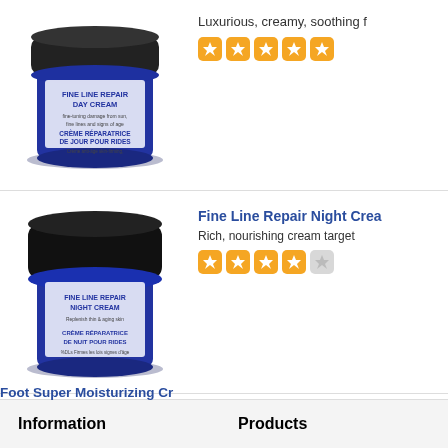[Figure (photo): Blue jar of Fine Line Repair Day Cream product, partially visible at top of page]
Luxurious, creamy, soothing
[Figure (other): 5 out of 5 orange star rating squares]
Fine Line Repair Night Cream
[Figure (photo): Blue jar of Fine Line Repair Night Cream product]
Rich, nourishing cream target
[Figure (other): 4 out of 5 orange star rating squares]
Foot Super Moisturizing Cream
[Figure (photo): Blue jar of Foot Super Moisturizing Cream product]
Rich yet not greasy buttery te
[Figure (other): 5 out of 5 orange star rating squares]
1  2  >  >|
Information
Products